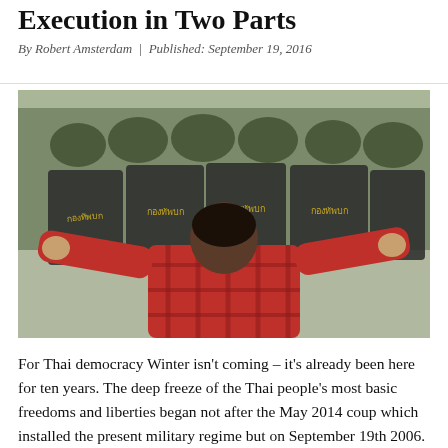Execution in Two Parts
By Robert Amsterdam | Published: September 19, 2016
[Figure (photo): A man in a red plaid shirt facing a line of soldiers in riot gear holding shields with Thai text. The scene depicts a confrontation between a lone protester and military personnel.]
For Thai democracy Winter isn't coming – it's already been here for ten years. The deep freeze of the Thai people's most basic freedoms and liberties began not after the May 2014 coup which installed the present military regime but on September 19th 2006. It was on that...